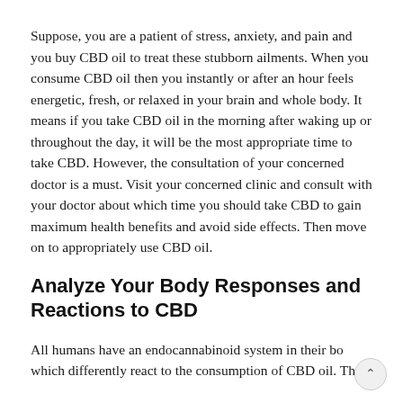Suppose, you are a patient of stress, anxiety, and pain and you buy CBD oil to treat these stubborn ailments. When you consume CBD oil then you instantly or after an hour feels energetic, fresh, or relaxed in your brain and whole body. It means if you take CBD oil in the morning after waking up or throughout the day, it will be the most appropriate time to take CBD. However, the consultation of your concerned doctor is a must. Visit your concerned clinic and consult with your doctor about which time you should take CBD to gain maximum health benefits and avoid side effects. Then move on to appropriately use CBD oil.
Analyze Your Body Responses and Reactions to CBD
All humans have an endocannabinoid system in their bo which differently react to the consumption of CBD oil. The